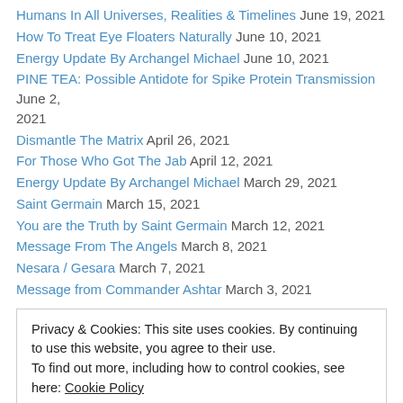Humans In All Universes, Realities & Timelines June 19, 2021
How To Treat Eye Floaters Naturally June 10, 2021
Energy Update By Archangel Michael June 10, 2021
PINE TEA: Possible Antidote for Spike Protein Transmission June 2, 2021
Dismantle The Matrix April 26, 2021
For Those Who Got The Jab April 12, 2021
Energy Update By Archangel Michael March 29, 2021
Saint Germain March 15, 2021
You are the Truth by Saint Germain March 12, 2021
Message From The Angels March 8, 2021
Nesara / Gesara March 7, 2021
Message from Commander Ashtar March 3, 2021
Privacy & Cookies: This site uses cookies. By continuing to use this website, you agree to their use. To find out more, including how to control cookies, see here: Cookie Policy
Med Beds and Quantum Healing Technologies November 22, 2020